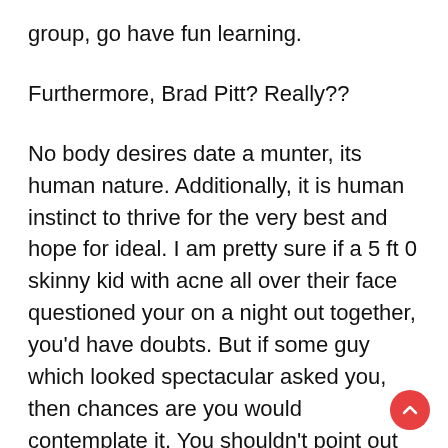group, go have fun learning.
Furthermore, Brad Pitt? Really??
No body desires date a munter, its human nature. Additionally, it is human instinct to thrive for the very best and hope for ideal. I am pretty sure if a 5 ft 0 skinny kid with acne all over their face questioned your on a night out together, you'd have doubts. But if some guy which looked spectacular asked you, then chances are you would contemplate it. You shouldn't point out characters because this isn't the thing I'm on about, if nothing think of the good looking any because of the greatest